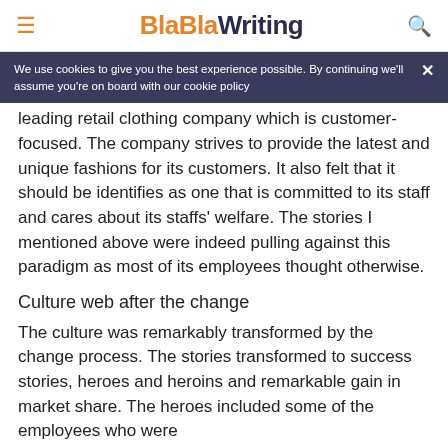BlaBlaWriting
We use cookies to give you the best experience possible. By continuing we'll assume you're on board with our cookie policy
leading retail clothing company which is customer-focused. The company strives to provide the latest and unique fashions for its customers. It also felt that it should be identifies as one that is committed to its staff and cares about its staffs' welfare. The stories I mentioned above were indeed pulling against this paradigm as most of its employees thought otherwise.
Culture web after the change
The culture was remarkably transformed by the change process. The stories transformed to success stories, heroes and heroins and remarkable gain in market share. The heroes included some of the employees who were